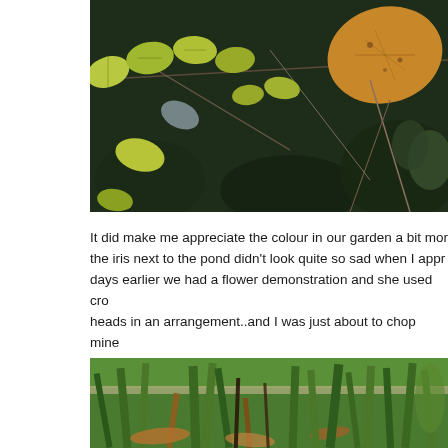[Figure (photo): Close-up photograph of autumn leaves on a branch against a dark garden background. Leaves are yellow-green and one large leaf in the top right is orange-brown with dark veins.]
It did make me appreciate the colour in our garden a bit more, the iris next to the pond didn't look quite so sad when I appr... days earlier we had a flower demonstration and she used cro... heads in an arrangement..and I was just about to chop mine ...
[Figure (photo): Close-up photograph of iris plants near a pond, with long green strap-like leaves, brown dried foliage, and green grass visible in the background.]